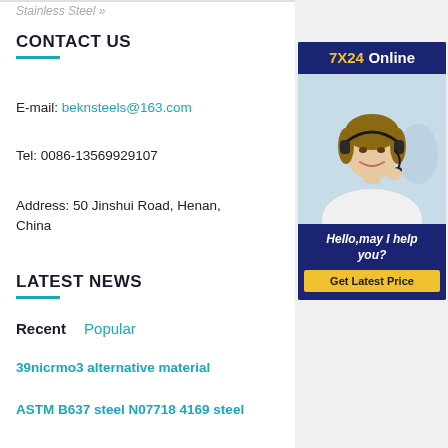Stainless Steel »
CONTACT US
E-mail: beknsteels@163.com
Tel: 0086-13569929107
Address: 50 Jinshui Road, Henan, China
[Figure (photo): Customer service representative with headset, smiling. Banner reads '7X24 Online', 'Hello, may I help you?' and button 'Get Latest Price']
LATEST NEWS
Recent   Popular
39nicrmo3 alternative material
ASTM B637 steel N07718 4169 steel